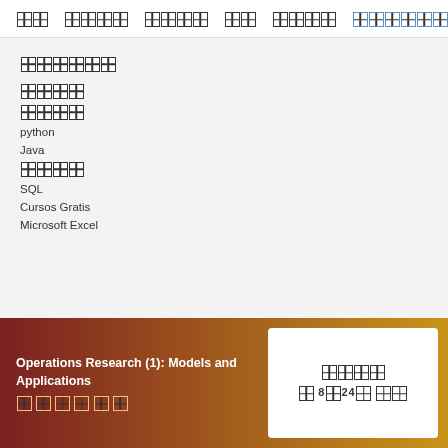□□  □□□□  □□□□  □□  □□□□  □□□□□□□
□□□□□□
□□□□
□□□□
python
Java
□□□□
SQL
Cursos Gratis
Microsoft Excel
Operations Research (1): Models and Applications
□□□□□□
□□□□
□ 8□24□ □□